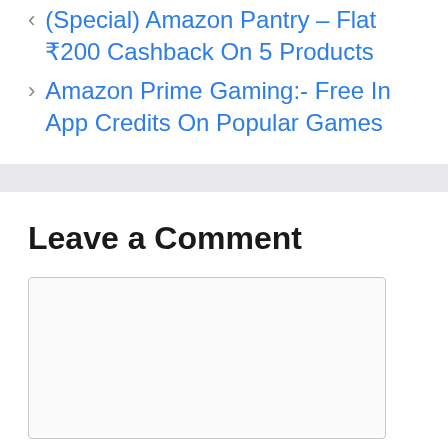< (Special) Amazon Pantry – Flat ₹200 Cashback On 5 Products
> Amazon Prime Gaming:- Free In App Credits On Popular Games
Leave a Comment
[Figure (other): Empty comment text area input box]